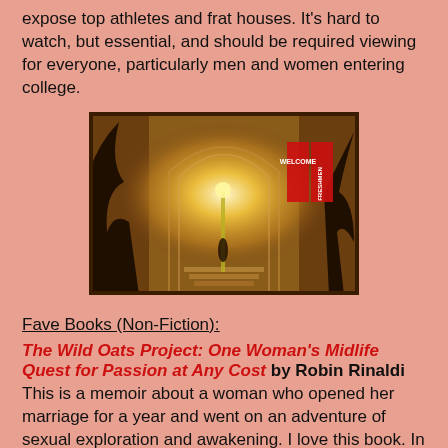expose top athletes and frat houses. It's hard to watch, but essential, and should be required viewing for everyone, particularly men and women entering college.
[Figure (photo): Night photo of a college campus building entrance with an archway lit by warm golden light, trees framing the scene, and a red 'Welcome Freshmen' banner visible on the right side of the building.]
Fave Books (Non-Fiction):
The Wild Oats Project: One Woman's Midlife Quest for Passion at Any Cost by Robin Rinaldi
This is a memoir about a woman who opened her marriage for a year and went on an adventure of sexual exploration and awakening. I love this book. In it, Robin Rinaldi shamelessly and honestly explores the topics of monogamy, sexuality, female pleasure, and the link between sexual